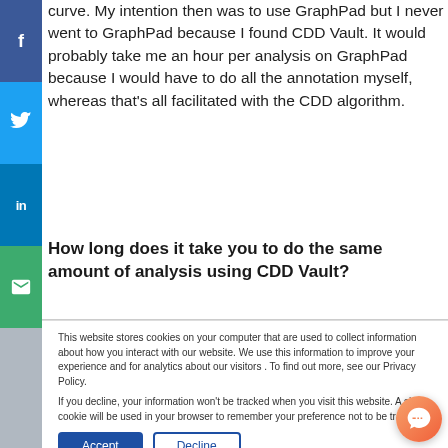curve. My intention then was to use GraphPad but I never went to GraphPad because I found CDD Vault. It would probably take me an hour per analysis on GraphPad because I would have to do all the annotation myself, whereas that's all facilitated with the CDD algorithm.
How long does it take you to do the same amount of analysis using CDD Vault?
This website stores cookies on your computer that are used to collect information about how you interact with our website. We use this information to improve your experience and for analytics about our visitors . To find out more, see our Privacy Policy.

If you decline, your information won't be tracked when you visit this website. A single cookie will be used in your browser to remember your preference not to be tracked.